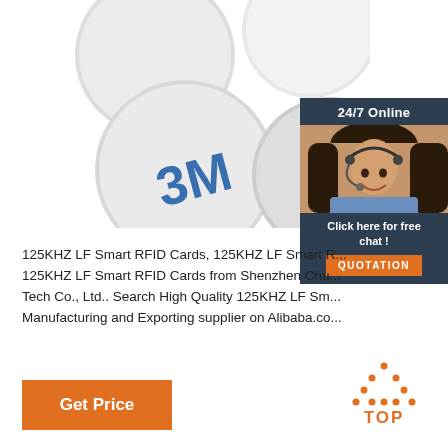[Figure (photo): White round RFID coin/disc tags, some showing 3M adhesive tape backing label with text 'Coated Tissue Tape']
[Figure (infographic): 24/7 Online customer service widget with dark navy background, photo of smiling woman with headset, 'Click here for free chat!' text, and orange QUOTATION button]
125KHZ LF Smart RFID Cards, 125KHZ LF Smart R... 125KHZ LF Smart RFID Cards from Shenzhen Chu... Tech Co., Ltd.. Search High Quality 125KHZ LF Sm... Manufacturing and Exporting supplier on Alibaba.co...
[Figure (other): Orange 'Get Price' button]
[Figure (other): Orange dotted triangle 'TOP' scroll-to-top button]